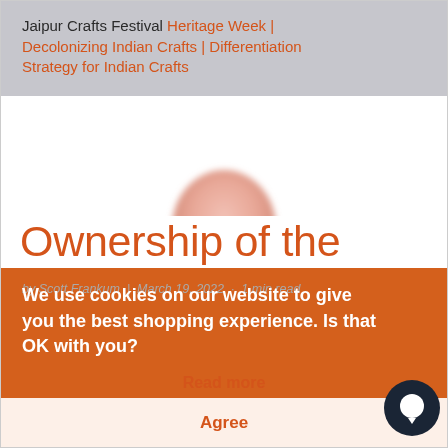Jaipur Crafts Festival Heritage Week | Decolonizing Indian Crafts | Differentiation Strategy for Indian Crafts
[Figure (photo): Partial view of a person's lower face/chin, blurred, appearing at the top of the article section]
Ownership of the Jaipur Crafts Festival | A Clarification
by Scott Frankum | March 19, 2022 · 1 min read
We use cookies on our website to give you the best shopping experience. Is that OK with you?
Read more
Agree